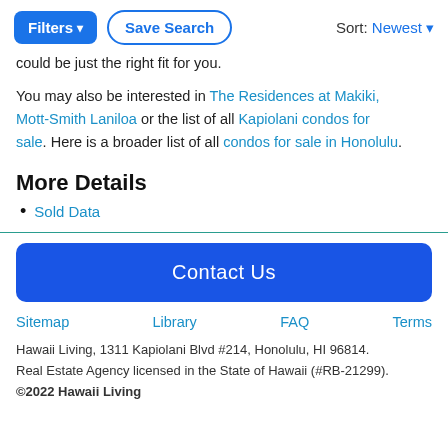Filters ▾   Save Search   Sort: Newest ▾
could be just the right fit for you.
You may also be interested in The Residences at Makiki, Mott-Smith Laniloa or the list of all Kapiolani condos for sale. Here is a broader list of all condos for sale in Honolulu.
More Details
Sold Data
Contact Us
Sitemap   Library   FAQ   Terms
Hawaii Living, 1311 Kapiolani Blvd #214, Honolulu, HI 96814.
Real Estate Agency licensed in the State of Hawaii (#RB-21299).
©2022 Hawaii Living